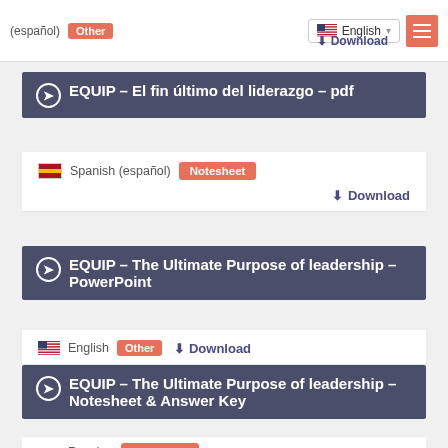(español)   Other   Download
[Figure (screenshot): Language selector dropdown showing English with US flag, and hamburger menu button in red]
➔ EQUIP – El fin último del liderazgo – pdf
Spanish (español)  Notesheet  Download
➔ EQUIP – The Ultimate Purpose of leadership – PowerPoint
English  Other  Download
➔ EQUIP – The Ultimate Purpose of leadership – Notesheet & Answer Key
Russian  Notesheet  Download